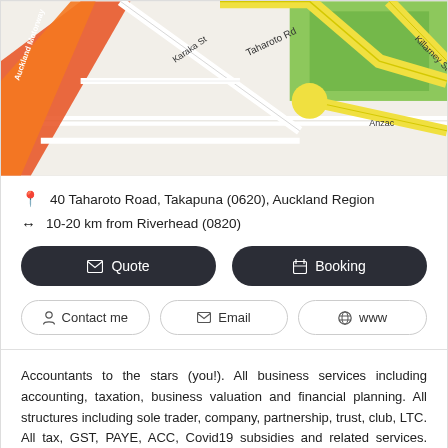[Figure (map): Street map showing Taharoto Road, Karaka St, Killarney St, Anzac area in Takapuna, Auckland. Yellow highlighted roads visible with green park area.]
40 Taharoto Road, Takapuna (0620), Auckland Region
10-20 km from Riverhead (0820)
✉ Quote
🗓 Booking
👤 Contact me
✉ Email
🌐 www
Accountants to the stars (you!). All business services including accounting, taxation, business valuation and financial planning. All structures including sole trader, company, partnership, trust, club, LTC. All tax, GST, PAYE, ACC, Covid19 subsidies and related services. Business purchases and sales advisory. All client types including rentals, investors, retailers, contractors, manufacturers. All accounting methods including Xero, MYOB, cashbooks, Excel. Experienced, professional, friendly,... Read more